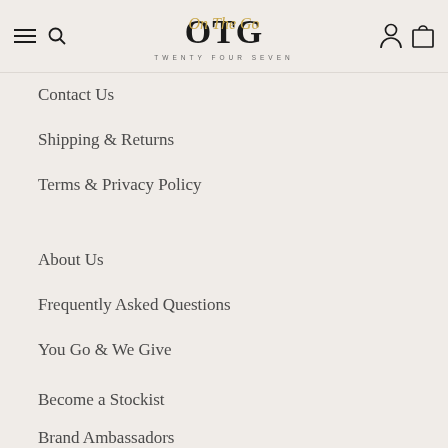OTG On The Go TWENTY FOUR SEVEN
Contact Us
Shipping & Returns
Terms & Privacy Policy
About Us
Frequently Asked Questions
You Go & We Give
Become a Stockist
Brand Ambassadors